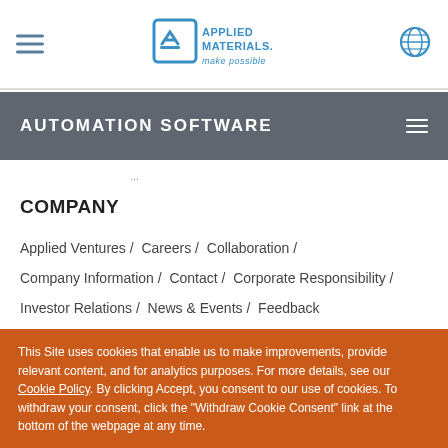Applied Materials – make possible (logo)
AUTOMATION SOFTWARE
...
COMPANY
Applied Ventures / Careers / Collaboration /
Company Information / Contact / Corporate Responsibility /
Investor Relations / News & Events / Feedback
This Site uses cookies that enable us to make improvements, provide relevant content, and for analytics purposes. For more details, see our Cookie Policy. By clicking Accept, you consent to our use of cookies. To withdraw your consent, click the "Withdraw Cookie Consent" link at the bottom of the webpage at any time.